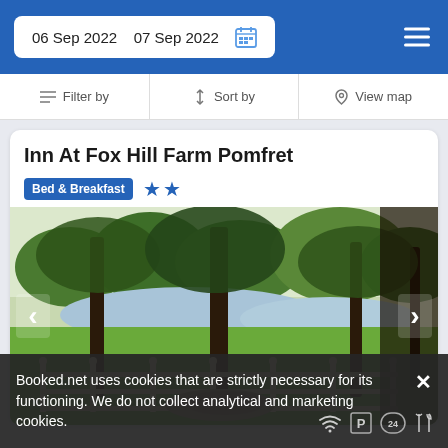06 Sep 2022  07 Sep 2022
Filter by  Sort by  View map
Inn At Fox Hill Farm Pomfret
Bed & Breakfast ★★
[Figure (photo): Outdoor garden view at Inn At Fox Hill Farm Pomfret showing trees, green lawn, a pond, and a wooden fence in the foreground]
Booked.net uses cookies that are strictly necessary for its functioning. We do not collect analytical and marketing cookies.